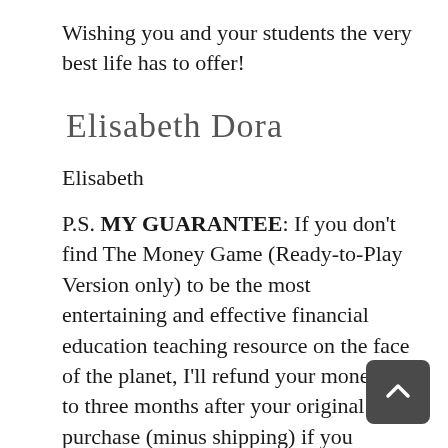Wishing you and your students the very best life has to offer!
[Figure (illustration): Handwritten signature reading 'Elisabeth Dorat']
Elisabeth
P.S. MY GUARANTEE: If you don't find The Money Game (Ready-to-Play Version only) to be the most entertaining and effective financial education teaching resource on the face of the planet, I'll refund your money up to three months after your original purchase (minus shipping) if you